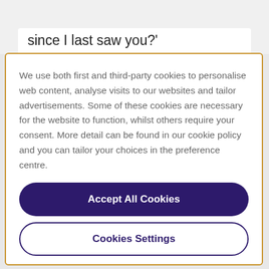since I last saw you?'
We use both first and third-party cookies to personalise web content, analyse visits to our websites and tailor advertisements. Some of these cookies are necessary for the website to function, whilst others require your consent. More detail can be found in our cookie policy and you can tailor your choices in the preference centre.
Accept All Cookies
Cookies Settings